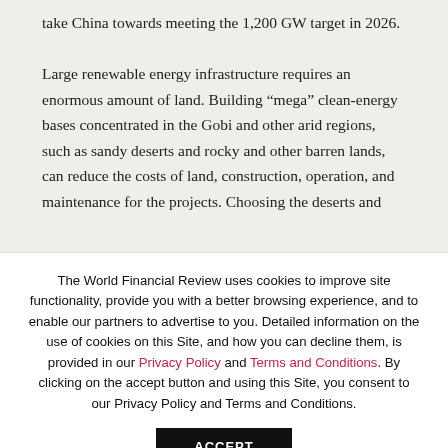take China towards meeting the 1,200 GW target in 2026.
Large renewable energy infrastructure requires an enormous amount of land. Building “mega” clean-energy bases concentrated in the Gobi and other arid regions, such as sandy deserts and rocky and other barren lands, can reduce the costs of land, construction, operation, and maintenance for the projects. Choosing the deserts and
The World Financial Review uses cookies to improve site functionality, provide you with a better browsing experience, and to enable our partners to advertise to you. Detailed information on the use of cookies on this Site, and how you can decline them, is provided in our Privacy Policy and Terms and Conditions. By clicking on the accept button and using this Site, you consent to our Privacy Policy and Terms and Conditions.
ACCEPT